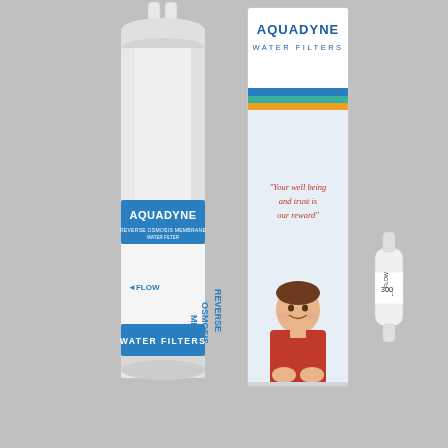[Figure (photo): Product photo showing three items against a light grey background: (1) A tall white cylindrical Aquadyne Reverse Osmosis water filter membrane with a blue label reading 'AQUADYNE' in white and 'WATER FILTERS' at the bottom, with 'FLOW' arrow and 'REVERSE OSMOSIS MEMBRANE' text on the label; (2) A tall rectangular product box with 'AQUADYNE WATER FILTERS' printed in blue/white at the top, a decorative stripe band of blue, green, and orange colors, and the text 'Your well being and trust is our reward' in red italic on the front, plus a smiling child in a red shirt at the bottom; (3) A small white inline water filter component with 'FLOW 300' text and an arrow indicating flow direction.]